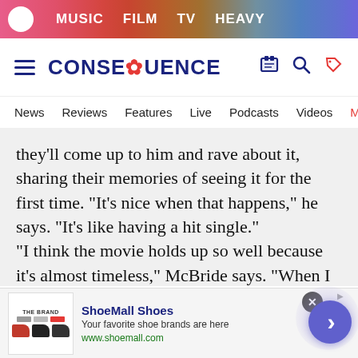[Figure (screenshot): Top navigation banner with rainbow gradient background showing MUSIC, FILM, TV, HEAVY links and a flower logo]
[Figure (logo): Consequence of Sound site logo bar with hamburger menu, CONSEQUENCE logo with flower icon, and icons for shop, search, tag]
News  Reviews  Features  Live  Podcasts  Videos  Mobile A
they'll come up to him and rave about it, sharing their memories of seeing it for the first time. “It’s nice when that happens,” he says. “It’s like having a hit single.”
“I think the movie holds up so well because it’s almost timeless,” McBride says. “When I told a young friend of mine that it doesn’t date, he said that’s true except it contains vinyl. Well, now that vinyl is back, that’s another element
[Figure (screenshot): Advertisement for ShoeMall Shoes showing shoe images, brand name in blue, tagline 'Your favorite shoe brands are here', URL www.shoemall.com, close button and arrow navigation button]